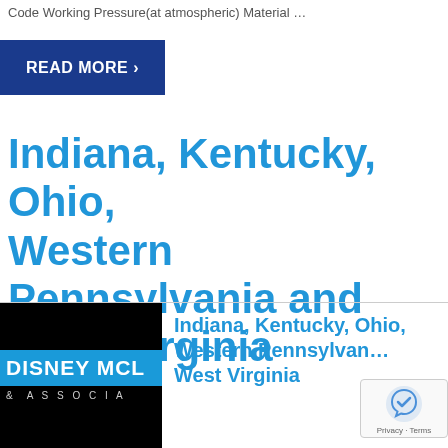Code Working Pressure(at atmospheric) Material …
READ MORE ›
Indiana, Kentucky, Ohio, Western Pennsylvania and West Virginia
[Figure (logo): Disney McLain & Associates logo — black background with blue bar and white text reading 'DISNEY MCL' and '& ASSOCIA']
Indiana, Kentucky, Ohio, Western Pennsylvania and West Virginia